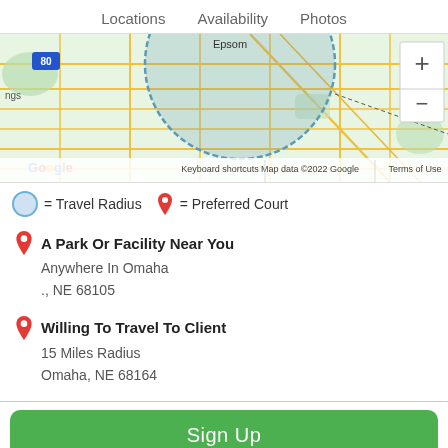Locations   Availability   Photos
[Figure (map): Google Maps screenshot showing Omaha area with a circular travel radius overlay and street/road network. Bottom left shows Google logo. Bottom bar shows 'Keyboard shortcuts', 'Map data ©2022 Google', 'Terms of Use'. Top right has zoom +/- controls.]
= Travel Radius   = Preferred Court
A Park Or Facility Near You
Anywhere In Omaha
., NE 68105
Willing To Travel To Client
15 Miles Radius
Omaha, NE 68164
Sign Up